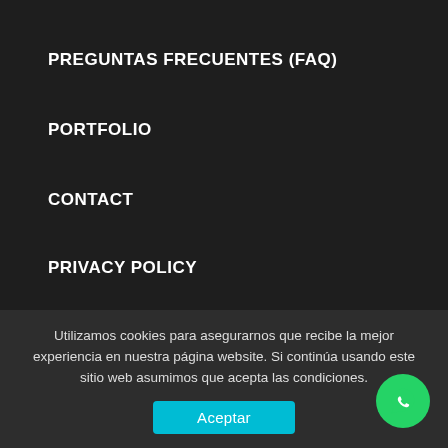PREGUNTAS FRECUENTES (FAQ)
PORTFOLIO
CONTACT
PRIVACY POLICY
Último Escrito
¿Cómo usar los colores complementarios?
Andrés Puritisó: fotografía, freelance y coworking
Utilizamos cookies para asegurarnos que recibe la mejor experiencia en nuestra página website. Si continúa usando este sitio web asumimos que acepta las condiciones.
Aceptar